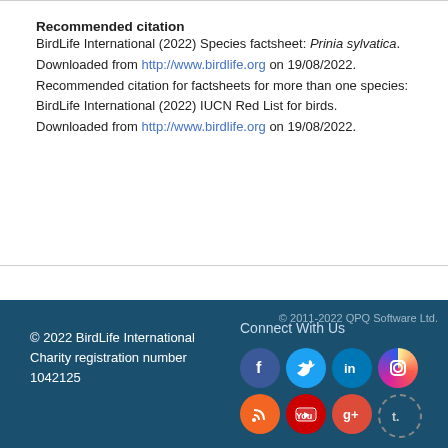Recommended citation
BirdLife International (2022) Species factsheet: Prinia sylvatica. Downloaded from http://www.birdlife.org on 19/08/2022. Recommended citation for factsheets for more than one species: BirdLife International (2022) IUCN Red List for birds. Downloaded from http://www.birdlife.org on 19/08/2022.
© 2022 BirdLife International Charity registration number 1042125
[Figure (other): Social media icons: Facebook, Twitter, LinkedIn, Instagram, RSS, YouTube, Google+, Tumblr]
© 2011-2022 QPQ Software Ltd.